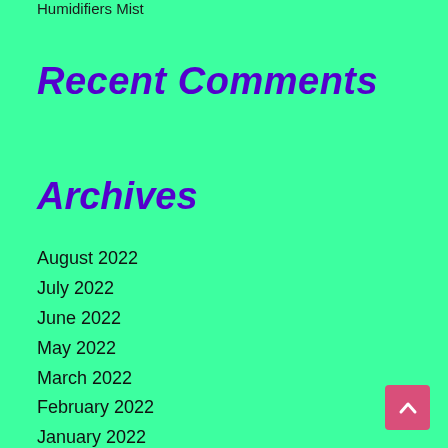Humidifiers Mist
Recent Comments
Archives
August 2022
July 2022
June 2022
May 2022
March 2022
February 2022
January 2022
December 2021